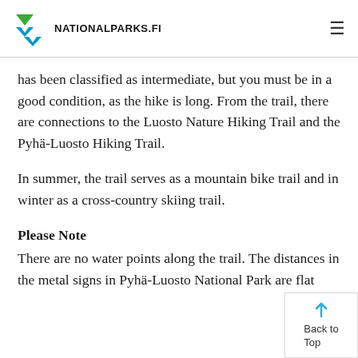NATIONALPARKS.FI
has been classified as intermediate, but you must be in a good condition, as the hike is long. From the trail, there are connections to the Luosto Nature Hiking Trail and the Pyhä-Luosto Hiking Trail.
In summer, the trail serves as a mountain bike trail and in winter as a cross-country skiing trail.
Please Note
There are no water points along the trail. The distances in the metal signs in Pyhä-Luosto National Park are flat